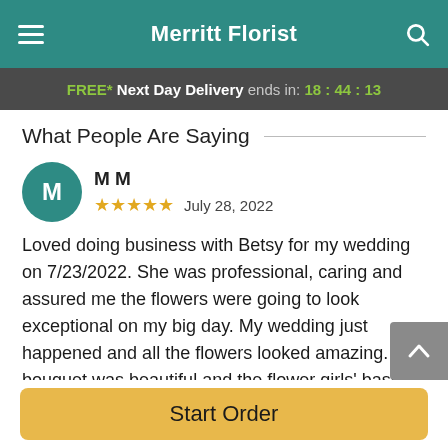Merritt Florist
FREE* Next Day Delivery ends in: 18:44:13
What People Are Saying
M M
★★★★★ July 28, 2022
Loved doing business with Betsy for my wedding on 7/23/2022. She was professional, caring and assured me the flowers were going to look exceptional on my big day. My wedding just happened and all the flowers looked amazing. My bouquet was beautiful and the flower girls' baskets were just adorable. I highly recommend Merrit
Start Order